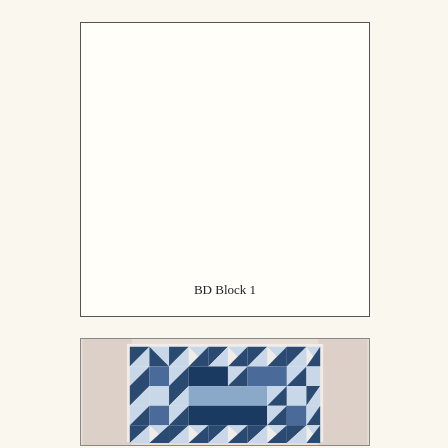[Figure (other): Empty white framed box with label 'BD Block 1' at the bottom center, representing a placeholder for a quilt block diagram.]
BD Block 1
[Figure (photo): Photograph of a blue and white geometric quilt hung on a light pink wall. The quilt features a repeating pattern of triangles and squares arranged in a symmetrical design with dark navy/indigo and light blue/white fabrics.]